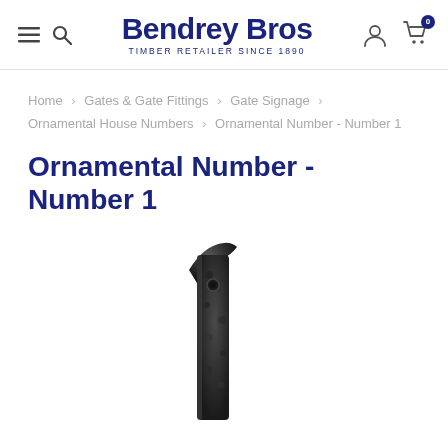Bendrey Bros — TIMBER RETAILER SINCE 1890
Home > Gates & Gate Fittings > Gate Signage > Ornamental House Numbers > Ornamental Number - Number 1
Ornamental Number - Number 1
[Figure (photo): Black ornamental cast iron house number '1' with hammered texture finish, photographed against white background, partially cropped at bottom of page.]